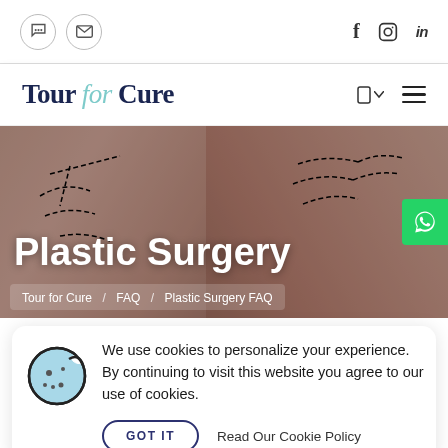Social/contact icons: WhatsApp, Email, Facebook, Instagram, LinkedIn
Tour for Cure
[Figure (screenshot): Hero banner image showing two women with plastic surgery dashed-line markings drawn on their faces, smiling. Large white text 'Plastic Surgery' overlaid.]
Tour for Cure  /  FAQ  /  Plastic Surgery FAQ
We use cookies to personalize your experience. By continuing to visit this website you agree to our use of cookies.
GOT IT    Read Our Cookie Policy